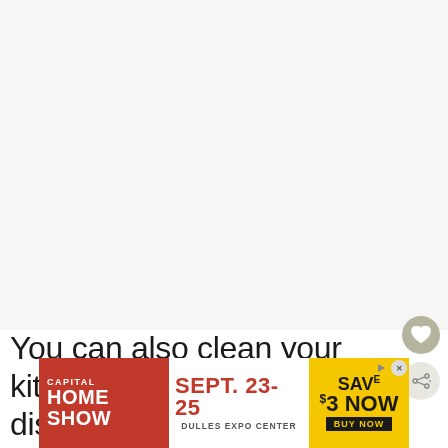[Figure (photo): Large white/light beige image area (photo content not visible in this crop)]
You can also clean your kitchen before getting the dishes out to start co[ntinued]
[Figure (infographic): Capital Home Show advertisement banner. Text: CAPITAL HOME SHOW | SEPT. 23-25 DULLES EXPO CENTER | SAVE $3 NOW BUY NOW]